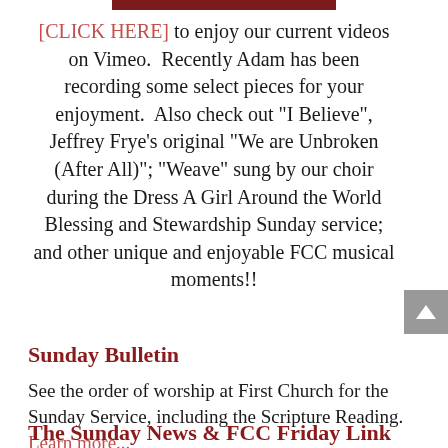[Figure (photo): Partial image strip at top of page, dark reddish-brown color]
[CLICK HERE] to enjoy our current videos on Vimeo.  Recently Adam has been recording some select pieces for your enjoyment.  Also check out "I Believe", Jeffrey Frye's original "We are Unbroken (After All)"; "Weave" sung by our choir during the Dress A Girl Around the World Blessing and Stewardship Sunday service; and other unique and enjoyable FCC musical moments!!
Sunday Bulletin
See the order of worship at First Church for the Sunday Service, including the Scripture Reading. Learn more...
The Sunday News & FCC Friday Link